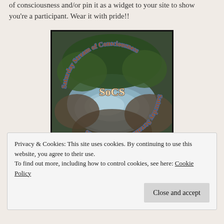of consciousness and/or pin it as a widget to your site to show you're a participant. Wear it with pride!!
[Figure (logo): SoCS badge — circular text reading 'Saturday Stream of Consciousness' arranged in a circle over a river/stream photo background, with 'SoCS' in the center]
Privacy & Cookies: This site uses cookies. By continuing to use this website, you agree to their use.
To find out more, including how to control cookies, see here: Cookie Policy
Close and accept